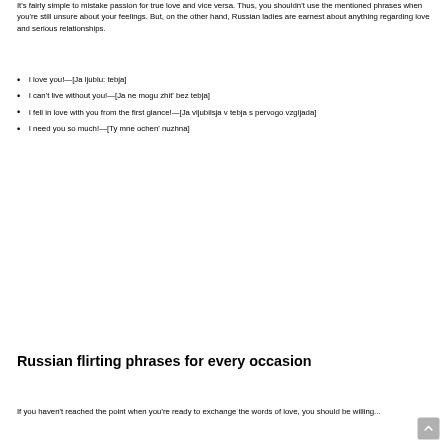It's fairly simple to mistake passion for true love and vice versa. Thus, you shouldn't use the mentioned phrases when you're still unsure about your feelings. But, on the other hand, Russian ladies are earnest about anything regarding love and serious relationships.
I love you!—[Ja ljublu: tebja]
I can't live without you!—[Ja ne mogu zhit' bez tebja]
I fell in love with you from the first glance!—[Ja vljubilsja v tebja s pervogo vzgljada]
I need you so much!—[Ty mne ochen' nuzhna]
Russian flirting phrases for every occasion
If you haven't reached the point when you're ready to exchange the words of love, you should be willing...